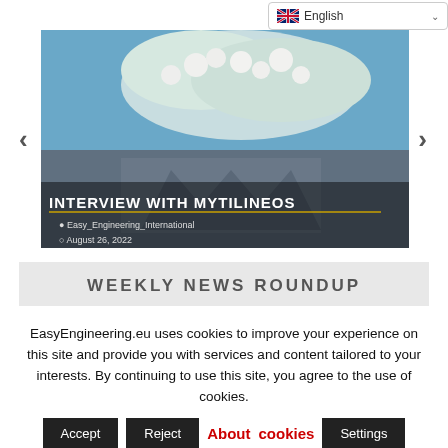[Figure (screenshot): Language selector dropdown showing English with UK flag]
[Figure (photo): Slideshow image with blooming white flowers against blue sky background and building. Caption reads INTERVIEW WITH MYTILINEOS with author Easy_Engineering_International and date August 26, 2022. Navigation arrows on left and right.]
WEEKLY NEWS ROUNDUP
EasyEngineering.eu uses cookies to improve your experience on this site and provide you with services and content tailored to your interests. By continuing to use this site, you agree to the use of cookies.
Accept  Reject  About cookies  Settings